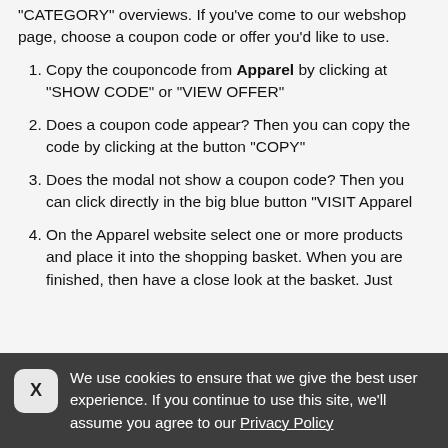"CATEGORY" overviews. If you've come to our webshop page, choose a coupon code or offer you'd like to use.
Copy the couponcode from Apparel by clicking at "SHOW CODE" or "VIEW OFFER"
Does a coupon code appear? Then you can copy the code by clicking at the button "COPY"
Does the modal not show a coupon code? Then you can click directly in the big blue button "VISIT Apparel
On the Apparel website select one or more products and place it into the shopping basket. When you are finished, then have a close look at the basket. Just
We use cookies to ensure that we give the best user experience. If you continue to use this site, we'll assume you agree to our Privacy Policy